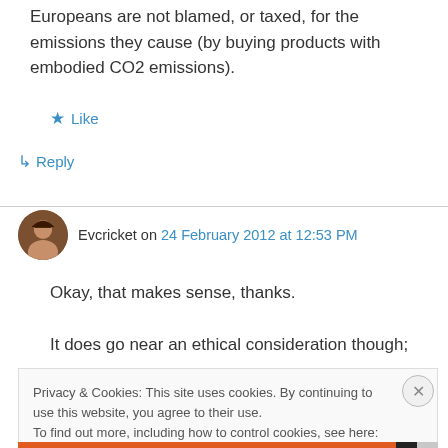Europeans are not blamed, or taxed, for the emissions they cause (by buying products with embodied CO2 emissions).
★ Like
↳ Reply
Evcricket on 24 February 2012 at 12:53 PM
Okay, that makes sense, thanks.
It does go near an ethical consideration though;
Privacy & Cookies: This site uses cookies. By continuing to use this website, you agree to their use.
To find out more, including how to control cookies, see here: Cookie Policy
Close and accept